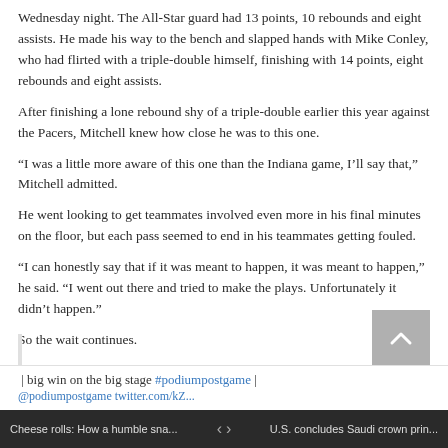Wednesday night. The All-Star guard had 13 points, 10 rebounds and eight assists. He made his way to the bench and slapped hands with Mike Conley, who had flirted with a triple-double himself, finishing with 14 points, eight rebounds and eight assists.
After finishing a lone rebound shy of a triple-double earlier this year against the Pacers, Mitchell knew how close he was to this one.
“I was a little more aware of this one than the Indiana game, I’ll say that,” Mitchell admitted.
He went looking to get teammates involved even more in his final minutes on the floor, but each pass seemed to end in his teammates getting fouled.
“I can honestly say that if it was meant to happen, it was meant to happen,” he said. “I went out there and tried to make the plays. Unfortunately it didn’t happen.”
So the wait continues.
| big win on the big stage #podiumpostgame | @podiumpostgame twitter.com/kZ...
Cheese rolls: How a humble sna... | U.S. concludes Saudi crown prin...